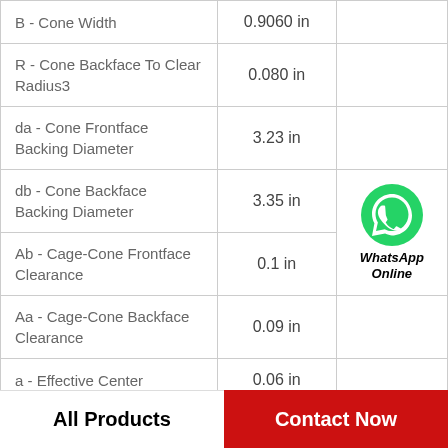| Parameter | Value |  |
| --- | --- | --- |
| B - Cone Width | 0.9060 in |  |
| R - Cone Backface To Clear Radius3 | 0.080 in |  |
| da - Cone Frontface Backing Diameter | 3.23 in |  |
| db - Cone Backface Backing Diameter | 3.35 in | WhatsApp Online |
| Ab - Cage-Cone Frontface Clearance | 0.1 in |  |
| Aa - Cage-Cone Backface Clearance | 0.09 in |  |
| a - Effective Center | 0.06 in |  |
All Products
Contact Now